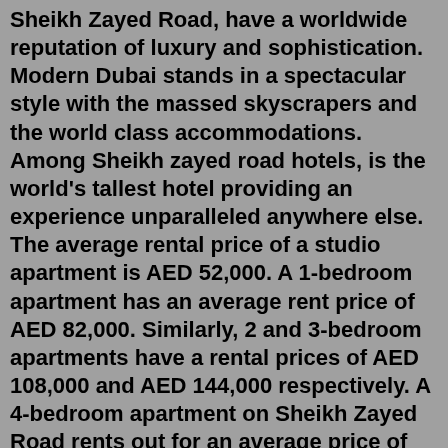Sheikh Zayed Road, have a worldwide reputation of luxury and sophistication. Modern Dubai stands in a spectacular style with the massed skyscrapers and the world class accommodations. Among Sheikh zayed road hotels, is the world's tallest hotel providing an experience unparalleled anywhere else. The average rental price of a studio apartment is AED 52,000. A 1-bedroom apartment has an average rent price of AED 82,000. Similarly, 2 and 3-bedroom apartments have a rental prices of AED 108,000 and AED 144,000 respectively. A 4-bedroom apartment on Sheikh Zayed Road rents out for an average price of AED 259,000. 953 apartments for rent in Sheikh Zayed Road on Dubai.dubizzle.com. Verified Flats Affordable Furnished Ready to Move Short/Long Term Easy Payment 130 sqm Apartment for Rent. For rent an apartment in Casa Beverly Hills Sheikh Zayed Area: 130 meters Consisting of: 2 bedrooms 2 bathrooms reception... Book a Viewing Today! See all 719 properties for rent in Sheikh Zayed Compounds, Sheikh Zayed City, including affordable, luxury and